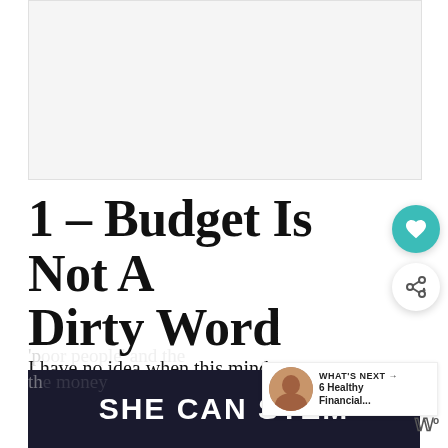[Figure (other): Gray advertisement placeholder box at top of page]
1 – Budget Is Not A Dirty Word
I have no idea when this mindset was adopted, but for so long I thought a budget was just for 'poor people' and that we really couldn't manage the money they
[Figure (other): What's Next overlay with woman's photo, text: WHAT'S NEXT → 6 Healthy Financial...]
[Figure (other): SHE CAN STEM dark banner advertisement at bottom of page]